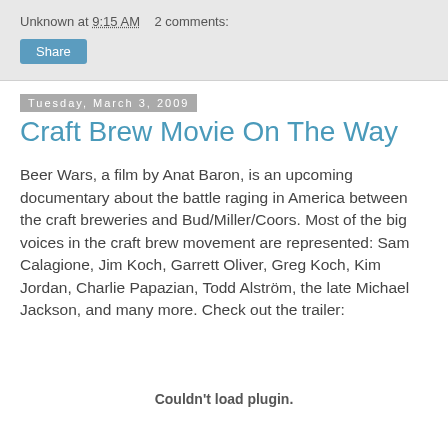Unknown at 9:15 AM   2 comments:
Share
Tuesday, March 3, 2009
Craft Brew Movie On The Way
Beer Wars, a film by Anat Baron, is an upcoming documentary about the battle raging in America between the craft breweries and Bud/Miller/Coors. Most of the big voices in the craft brew movement are represented: Sam Calagione, Jim Koch, Garrett Oliver, Greg Koch, Kim Jordan, Charlie Papazian, Todd Alström, the late Michael Jackson, and many more. Check out the trailer:
Couldn't load plugin.